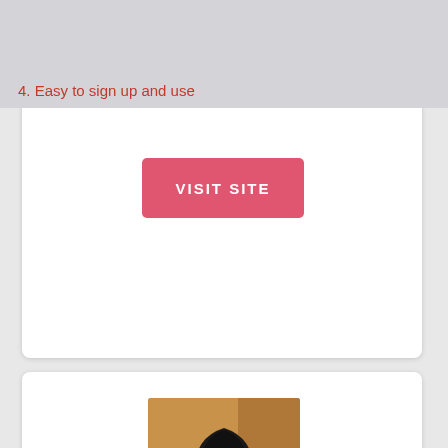Finding Romance With Beautiful Japanese Women: Brides Of Value
4. Easy to sign up and use
VISIT SITE
[Figure (photo): Portrait photo of a young Asian woman with long black hair wearing a yellow/golden bandeau top, against a warm brown background]
Asian Melodies